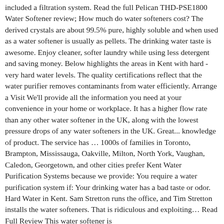included a filtration system. Read the full Pelican THD-PSE1800 Water Softener review; How much do water softeners cost? The derived crystals are about 99.5% pure, highly soluble and when used as a water softener is usually as pellets. The drinking water taste is awesome. Enjoy cleaner, softer laundry while using less detergent and saving money. Below highlights the areas in Kent with hard - very hard water levels. The quality certifications reflect that the water purifier removes contaminants from water efficiently. Arrange a Visit We'll provide all the information you need at your convenience in your home or workplace. It has a higher flow rate than any other water softener in the UK, along with the lowest pressure drops of any water softeners in the UK. Great... knowledge of product. The service has … 1000s of families in Toronto, Brampton, Mississauga, Oakville, Milton, North York, Vaughan, Caledon, Georgetown, and other cities prefer Kent Water Purification Systems because we provide: You require a water purification system if: Your drinking water has a bad taste or odor. Hard Water in Kent. Sam Stretton runs the office, and Tim Stretton installs the water softeners. That is ridiculous and exploiting… Read Full Review This water softener is